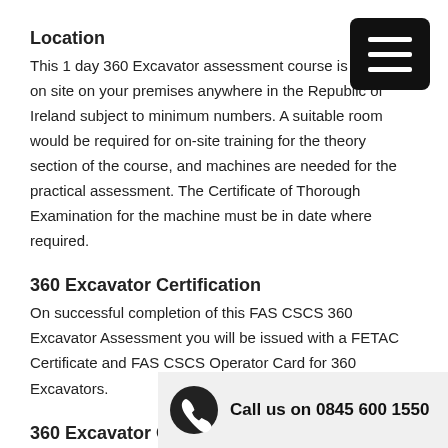Location
This 1 day 360 Excavator assessment course is available on site on your premises anywhere in the Republic of Ireland subject to minimum numbers. A suitable room would be required for on-site training for the theory section of the course, and machines are needed for the practical assessment. The Certificate of Thorough Examination for the machine must be in date where required.
360 Excavator Certification
On successful completion of this FAS CSCS 360 Excavator Assessment you will be issued with a FETAC Certificate and FAS CSCS Operator Card for 360 Excavators.
360 Excavator Course Des
The Programme will consist of a session of underpinning knowledge relating to 360 Excavator operations, and practical operation of the 360 Excavator.